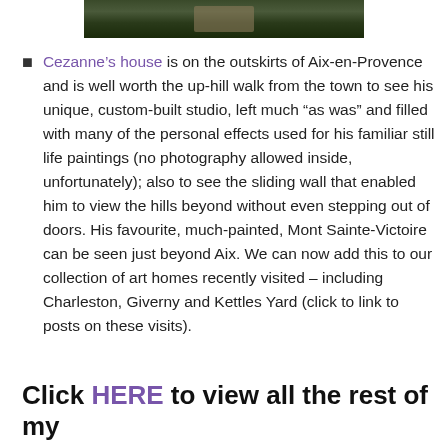[Figure (photo): Partial photo strip at top showing outdoor scene with trees/garden, dark tones]
Cezanne's house is on the outskirts of Aix-en-Provence and is well worth the up-hill walk from the town to see his unique, custom-built studio, left much “as was” and filled with many of the personal effects used for his familiar still life paintings (no photography allowed inside, unfortunately); also to see the sliding wall that enabled him to view the hills beyond without even stepping out of doors. His favourite, much-painted, Mont Sainte-Victoire can be seen just beyond Aix. We can now add this to our collection of art homes recently visited – including Charleston, Giverny and Kettles Yard (click to link to posts on these visits).
Click HERE to view all the rest of my